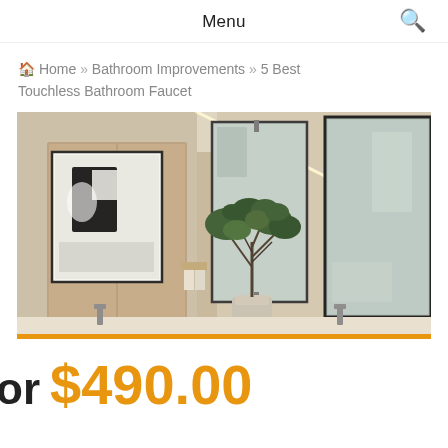Menu
Home » Bathroom Improvements » 5 Best Touchless Bathroom Faucet
[Figure (photo): Modern bathroom interior with large mirrors, a potted green tree, framed black-and-white wall art, wood cabinetry, and sink area with chrome faucets.]
or $490.00